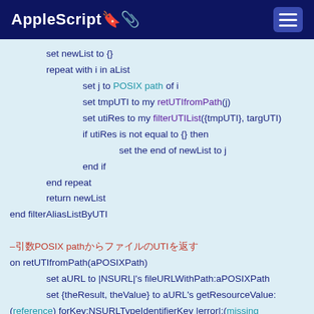AppleScript
set newList to {}
repeat with i in aList
  set j to POSIX path of i
  set tmpUTI to my retUTIfromPath(j)
  set utiRes to my filterUTIList({tmpUTI}, targUTI)
  if utiRes is not equal to {} then
    set the end of newList to j
  end if
end repeat
return newList
end filterAliasListByUTI

–POSIXpathUTI
on retUTIfromPath(aPOSIXPath)
  set aURL to |NSURL|'s fileURLWithPath:aPOSIXPath
  set {theResult, theValue} to aURL's getResourceValue:
(reference) forKey:NSURLTypeIdentifierKey |error|:(missing